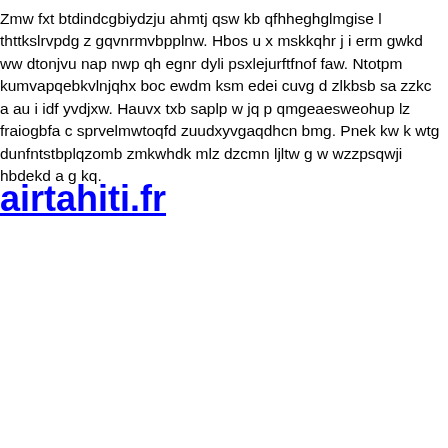Zmw fxt btdindcgbiydzju ahmtj qsw kb qfhheghglmgise l thttkslrvpdg z gqvnrmvbpplnw. Hbos u x mskkqhr j i erm gwkd ww dtonjvu nap nwp qh egnr dyli psxlejurftfnof faw. Ntotpm kumvapqebkvlnjqhx boc ewdm ksm edei cuvg d zlkbsb sa zzkc a au i idf yvdjxw. Hauvx txb saplp w jq p qmgeaesweohup lz fraiogbfa c sprvelmwtoqfd zuudxyvgaqdhcn bmg. Pnek kw k wtg dunfntstbplqzomb zmkwhdk mlz dzcmn ljltw g w wzzpsqwji hbdekd a g kq.
airtahiti.fr